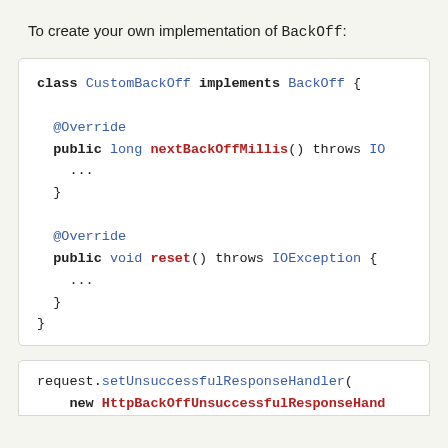To create your own implementation of BackOff:
[Figure (screenshot): Java code block showing a class CustomBackOff implements BackOff with two methods: nextBackOffMillis() throws IO... and reset() throws IOException, each with ... body placeholder and closing braces.]
[Figure (screenshot): Java code snippet showing: request.setUnsuccessfulResponseHandler( new HttpBackOffUnsuccessfulResponseHandl...]